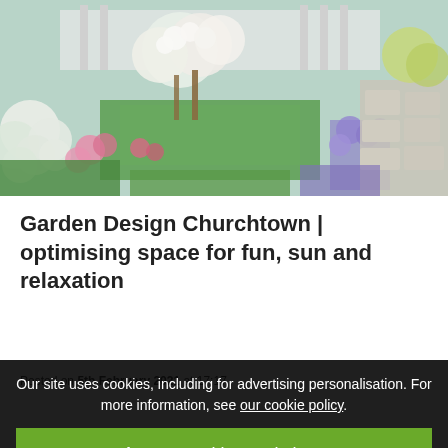[Figure (photo): Aerial/overhead view of a colorful garden with white hydrangea blooms, pink and purple flowers, ornamental trees with white blossoms, a green lawn, and a stone patio path]
Garden Design Churchtown | optimising space for fun, sun and relaxation
Posted on 5th February 2021 at 17:17
Read more
Archives
August 2022
31 Bionort Qader
Our site uses cookies, including for advertising personalisation. For more information, see our cookie policy.
Accept cookies and close
Reject cookies
Manage settings